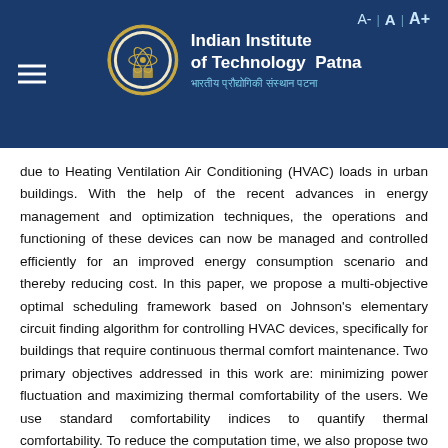Indian Institute of Technology Patna — भारतीय प्रौद्योगिकी संस्थान पटना
due to Heating Ventilation Air Conditioning (HVAC) loads in urban buildings. With the help of the recent advances in energy management and optimization techniques, the operations and functioning of these devices can now be managed and controlled efficiently for an improved energy consumption scenario and thereby reducing cost. In this paper, we propose a multi-objective optimal scheduling framework based on Johnson's elementary circuit finding algorithm for controlling HVAC devices, specifically for buildings that require continuous thermal comfort maintenance. Two primary objectives addressed in this work are: minimizing power fluctuation and maximizing thermal comfortability of the users. We use standard comfortability indices to quantify thermal comfortability. To reduce the computation time, we also propose two intelligent improvement schemes that prune the exponential search space